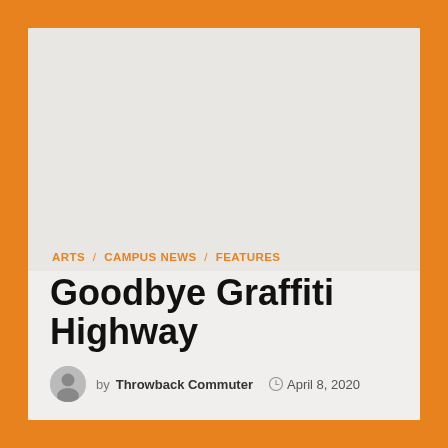[Figure (photo): Empty light gray image area placeholder at top of article card]
ARTS / CAMPUS NEWS / FEATURES
Goodbye Graffiti Highway
by Throwback Commuter   April 8, 2020